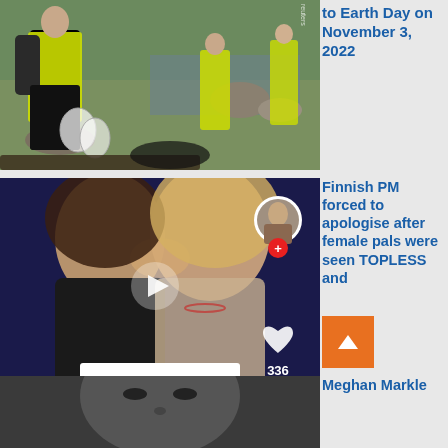[Figure (photo): People in yellow high-visibility vests picking up trash/litter outdoors near a rocky shoreline, holding large plastic bags]
to Earth Day on November 3, 2022
[Figure (screenshot): TikTok video screenshot showing two women kissing, one holding a sign reading FINLAND, with TikTok UI elements including play button, avatar, heart (336), and comment bubble]
Finnish PM forced to apologise after female pals were seen TOPLESS and
kissing in official residence
[Figure (photo): Partial view of a person's face, black and white or dark toned image, only top portion visible]
Meghan Markle